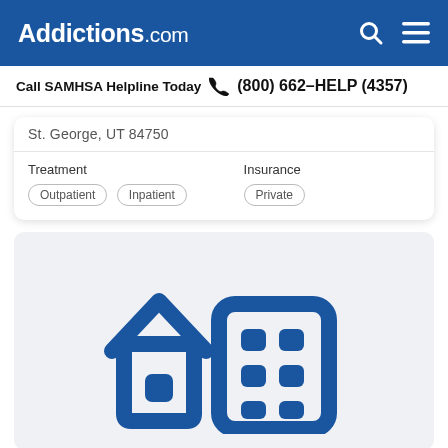Addictions.com
Call SAMHSA Helpline Today  (800) 662-HELP (4357)
St. George, UT 84750
| Treatment | Insurance |
| --- | --- |
| Outpatient  Inpatient | Private |
[Figure (illustration): Icon of a house and a multi-story building, both in dark blue, representing residential and inpatient treatment facilities]